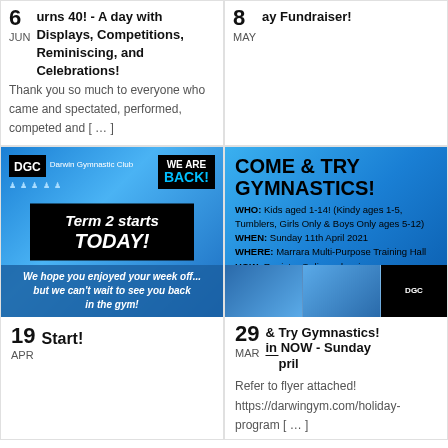6 JUN - urns 40! - A day with Displays, Competitions, Reminiscing, and Celebrations!
Thank you so much to everyone who came and spectated, performed, competed and [ … ]
8 MAY - ay Fundraiser!
[Figure (photo): Darwin Gymnastics Club promotional image - Term 2 starts TODAY! with WE ARE BACK! banner]
[Figure (photo): Come & Try Gymnastics flyer - WHO: Kids aged 1-14, WHEN: Sunday 11th April 2021, WHERE: Marrara Multi-Purpose Training Hall, HOW: Register Online - darwingym.com]
19 APR - Start!
29 MAR - & Try Gymnastics! in NOW - Sunday ... pril
Refer to flyer attached!
https://darwingym.com/holiday-program [ … ]